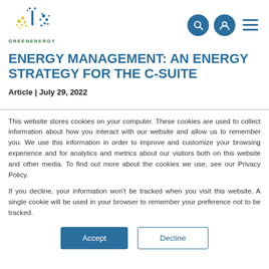GREENENERGY
ENERGY MANAGEMENT: AN ENERGY STRATEGY FOR THE C-SUITE
Article | July 29, 2022
This website stores cookies on your computer. These cookies are used to collect information about how you interact with our website and allow us to remember you. We use this information in order to improve and customize your browsing experience and for analytics and metrics about our visitors both on this website and other media. To find out more about the cookies we use, see our Privacy Policy.
If you decline, your information won't be tracked when you visit this website. A single cookie will be used in your browser to remember your preference not to be tracked.